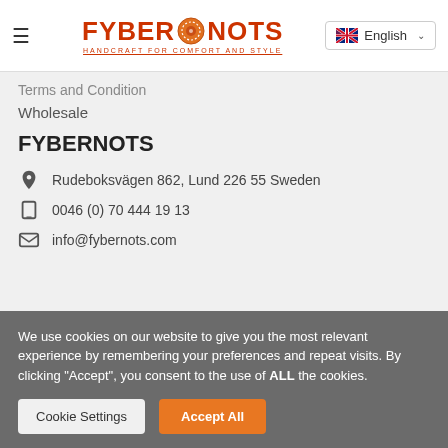FYBERNOTS — Handcraft for Comfort and Style | English
Terms and Condition
Wholesale
FYBERNOTS
Rudeboksvägen 862, Lund 226 55 Sweden
0046 (0) 70 444 19 13
info@fybernots.com
We use cookies on our website to give you the most relevant experience by remembering your preferences and repeat visits. By clicking "Accept", you consent to the use of ALL the cookies.
Cookie Settings
Accept All